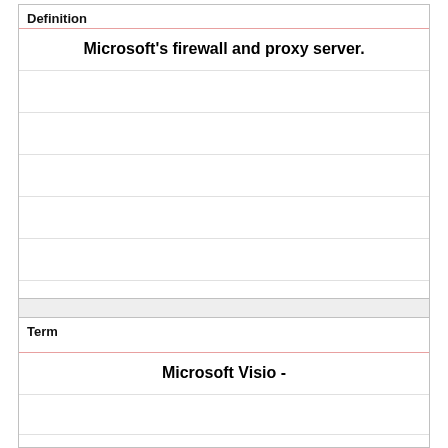Definition
Microsoft's firewall and proxy server.
Term
Microsoft Visio -